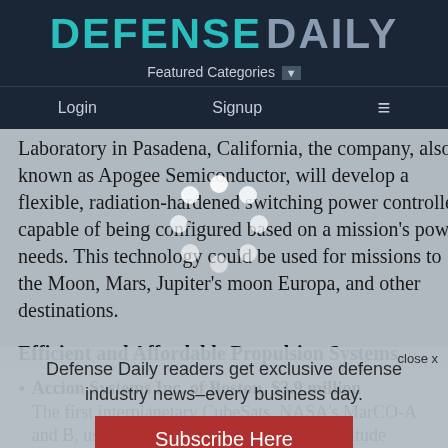DEFENSE DAILY
Featured Categories
Login  Signup  ≡
Laboratory in Pasadena, California, the company, also known as Apogee Semiconductor, will develop a flexible, radiation-hardened switching power controller capable of being configured based on a mission's power needs. This technology could be used for missions to the Moon, Mars, Jupiter's moon Europa, and other destinations.
Efficient and Affordable Propulsion Systems
Accion Systems Inc. of Boston, $3.9 million The first interplanetary CubeSats, NASA's MarCO-A and B, used a set of four gas thrusters for attitude control and course corrections